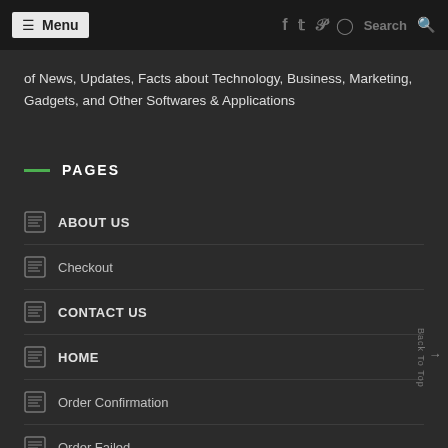☰ Menu   f  t  p  ◯  Search 🔍
of News, Updates, Facts about Technology, Business, Marketing, Gadgets, and Other Softwares & Applications
PAGES
ABOUT US
Checkout
CONTACT US
HOME
Order Confirmation
Order Failed